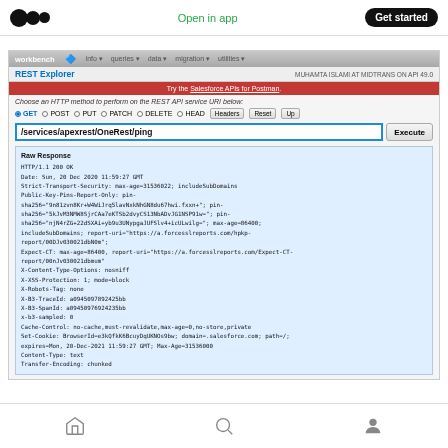Open in app | Get started
[Figure (screenshot): Salesforce Workbench REST Explorer screenshot showing a GET request to /services/apexrest/OneRest/ping with a raw HTTP 200 OK response including headers for Strict-Transport-Security, Public-Key-Pins-Report-Only, Expect-CT, X-Content-Type-Options, X-XSS-Protection, X-Robots-Tag, X-B3-TraceId, X-B3-SpanId, x-b3-sampled, Cache-Control, Set-Cookie, Content-Type, Transfer-Encoding]
Home | Search | Profile